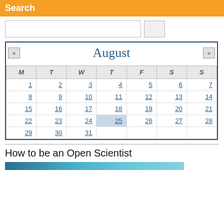Search
[Figure (other): Search input box with a button]
| M | T | W | T | F | S | S |
| --- | --- | --- | --- | --- | --- | --- |
| 1 | 2 | 3 | 4 | 5 | 6 | 7 |
| 8 | 9 | 10 | 11 | 12 | 13 | 14 |
| 15 | 16 | 17 | 18 | 19 | 20 | 21 |
| 22 | 23 | 24 | 25 | 26 | 27 | 28 |
| 29 | 30 | 31 |  |  |  |  |
How to be an Open Scientist
[Figure (photo): Partial image strip at bottom, teal/blue tones]